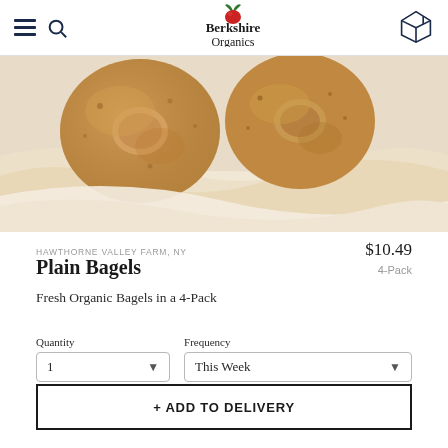Berkshire Organics
[Figure (photo): Close-up photo of plain bagels in a cloth-lined basket, warm golden-brown tones]
HAWTHORNE VALLEY FARM, NY
$10.49
Plain Bagels
4-Pack
Fresh Organic Bagels in a 4-Pack
Quantity
1
Frequency
This Week
+ ADD TO DELIVERY